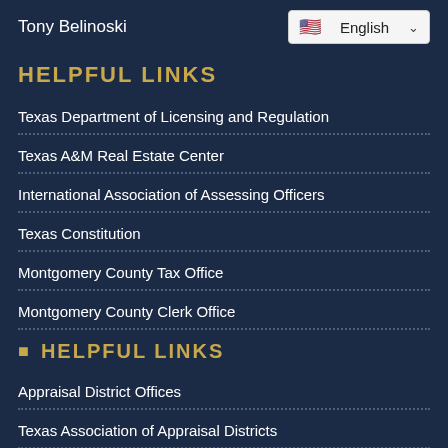Tony Belinoski
HELPFUL LINKS
Texas Department of Licensing and Regulation
Texas A&M Real Estate Center
International Association of Assessing Officers
Texas Constitution
Montgomery County Tax Office
Montgomery County Clerk Office
HELPFUL LINKS
Appraisal District Offices
Texas Association of Appraisal Districts
Texas Association of Counties